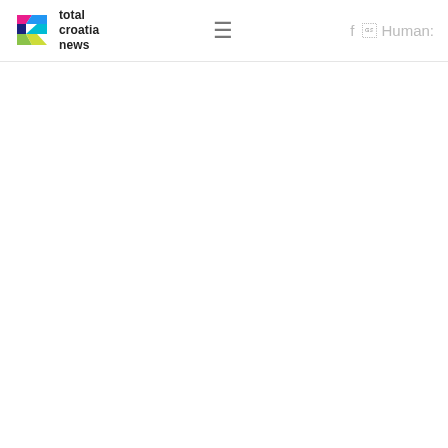total croatia news
[Figure (photo): Soccer match aerial photo showing a Croatia player in dark uniform controlling a ball on a green pitch, with two Spain players in white uniforms nearby. Player number 21 in white jersey visible in foreground.]
Slobodan Kadic